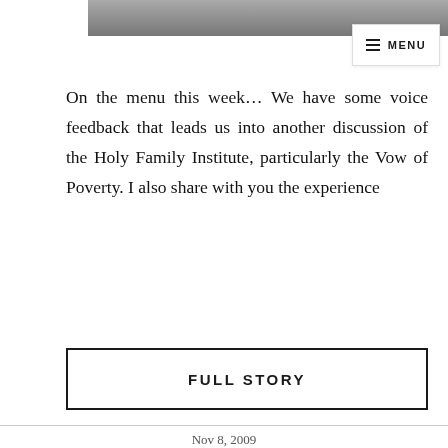[Figure (photo): Top portion of an image, partially cut off at the top of the page]
[Figure (screenshot): Menu button with hamburger icon in top right corner]
On the menu this week... We have some voice feedback that leads us into another discussion of the Holy Family Institute, particularly the Vow of Poverty. I also share with you the experience
FULL STORY
Nov 8, 2009
CF46 – TURKEY
[Figure (photo): Bottom portion of an image with animal and grass, partially cut off]
[Figure (screenshot): Red Subscribe button with user icon]